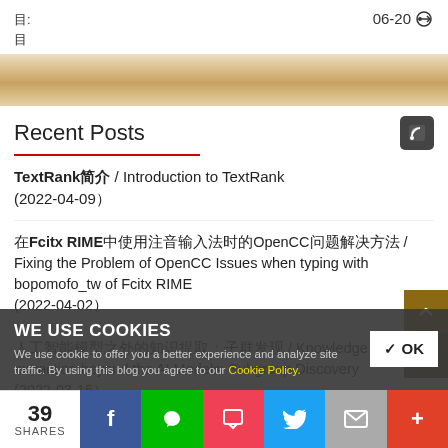目: 06-20
目
[Figure (illustration): Wood texture banner strip]
Recent Posts
TextRank简介 / Introduction to TextRank (2022-04-09)
在Fcitx RIME中使用注音输入法时的OpenCC问题解决方法 / Fixing the Problem of OpenCC Issues when typing with bopomofo_tw of Fcitx RIME (2022-04-02)
人工智能模型之外的知识提取：子群发现 / Knowledge extraction beyond the AI Models: Subgroup Discovery (2022-03-15)
WE USE COOKIES
We use cookie to offer you a better experience and analyze site traffic. By using this blog you agree to our Cookie Policy.